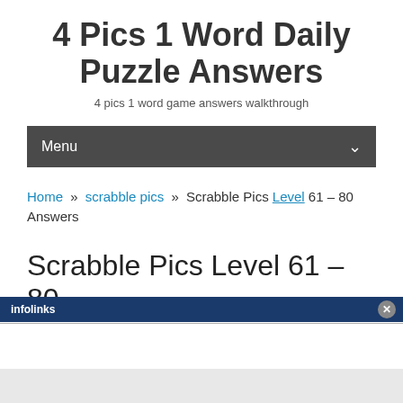4 Pics 1 Word Daily Puzzle Answers
4 pics 1 word game answers walkthrough
Menu
Home » scrabble pics » Scrabble Pics Level 61 – 80 Answers
Scrabble Pics Level 61 – 80
infolinks